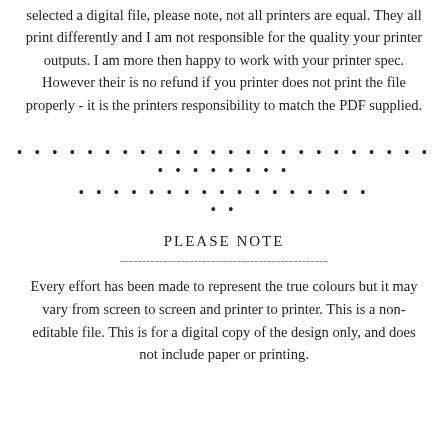selected a digital file, please note, not all printers are equal. They all print differently and I am not responsible for the quality your printer outputs. I am more then happy to work with your printer spec. However their is no refund if you printer does not print the file properly - it is the printers responsibility to match the PDF supplied.
[Figure (illustration): Two rows of decorative dots as a divider]
PLEASE NOTE
------------------------------------------------
Every effort has been made to represent the true colours but it may vary from screen to screen and printer to printer. This is a non-editable file. This is for a digital copy of the design only, and does not include paper or printing.